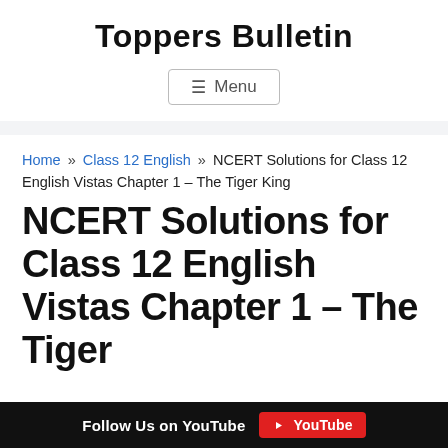Toppers Bulletin
≡ Menu
Home » Class 12 English » NCERT Solutions for Class 12 English Vistas Chapter 1 – The Tiger King
NCERT Solutions for Class 12 English Vistas Chapter 1 – The Tiger
Follow Us on YouTube  YouTube